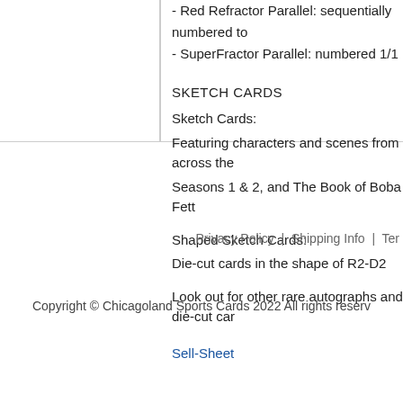- Red Refractor Parallel: sequentially numbered to
- SuperFractor Parallel: numbered 1/1
SKETCH CARDS
Sketch Cards:
Featuring characters and scenes from across the Seasons 1 & 2, and The Book of Boba Fett
Shaped Sketch Cards:
Die-cut cards in the shape of R2-D2
Look out for other rare autographs and die-cut car
Sell-Sheet
Privacy Policy | Shipping Info | Ter
Copyright © Chicagoland Sports Cards 2022 All rights reserv